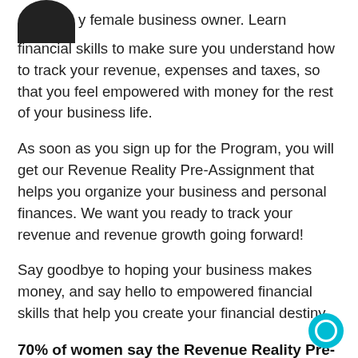to be a savvy female business owner. Learn financial skills to make sure you understand how to track your revenue, expenses and taxes, so that you feel empowered with money for the rest of your business life.
As soon as you sign up for the Program, you will get our Revenue Reality Pre-Assignment that helps you organize your business and personal finances. We want you ready to track your revenue and revenue growth going forward!
Say goodbye to hoping your business makes money, and say hello to empowered financial skills that help you create your financial destiny.
70% of women say the Revenue Reality Pre-Assignments is High Value or Off the Charts Transformative.
MARKETING & SALES